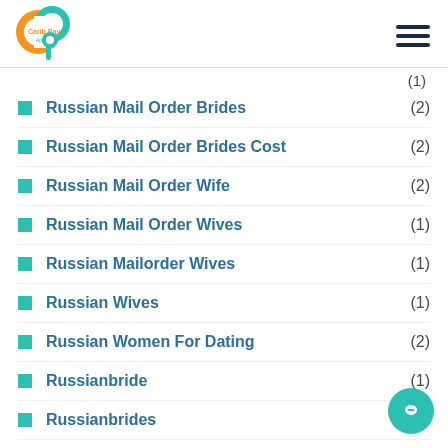Carib Pay App
Russian Mail Order Brides (2)
Russian Mail Order Brides Cost (2)
Russian Mail Order Wife (2)
Russian Mail Order Wives (1)
Russian Mailorder Wives (1)
Russian Wives (1)
Russian Women For Dating (2)
Russianbride (1)
Russianbrides (1)
RussianCupid Probemonat (1)